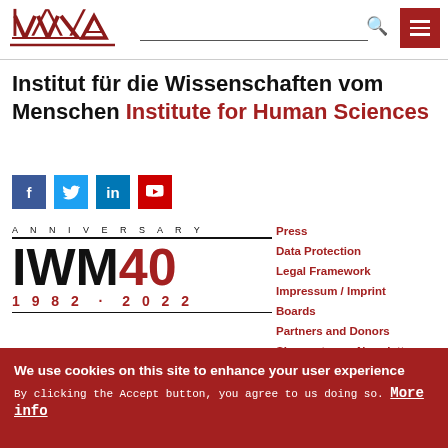IWM logo, search bar, hamburger menu
Institut für die Wissenschaften vom Menschen Institute for Human Sciences
[Figure (logo): Social media icons: Facebook, Twitter, LinkedIn, YouTube]
[Figure (logo): IWM 40th Anniversary logo: ANNIVERSARY / IWM40 / 1982 · 2022]
Spittelauer Lände 3
1090 Vienna/Austria
Phone +43-1-313-58-0
Fax +43-1-313-58-60
Press
Data Protection
Legal Framework
Impressum / Imprint
Boards
Partners and Donors
Sign up to our Newsletter
We use cookies on this site to enhance your user experience
By clicking the Accept button, you agree to us doing so. More info